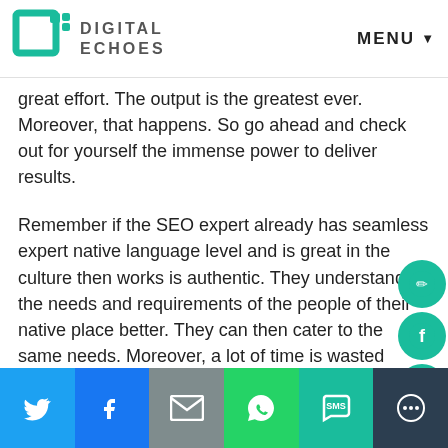Digital Echoes — MENU
great effort. The output is the greatest ever. Moreover, that happens. So go ahead and check out for yourself the immense power to deliver results.
Remember if the SEO expert already has seamless expert native language level and is great in the culture then works is authentic. They understand the needs and requirements of the people of their native place better. They can then cater to the same needs. Moreover, a lot of time is wasted when SEO Experts have to research on topics or cultures they are new to. It takes time to understand the needs and what the people of Lebanon would like.
In order to suit that purpose it is best to take the service of a native level speaker who not just knows the language
Share bar: Twitter, Facebook, Email, WhatsApp, SMS, More